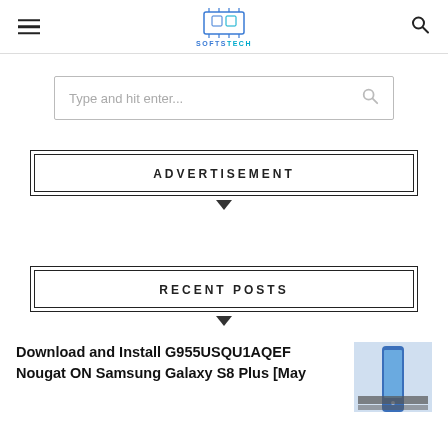SOFTSTECH
Type and hit enter...
ADVERTISEMENT
RECENT POSTS
Download and Install G955USQU1AQEF Nougat ON Samsung Galaxy S8 Plus [May